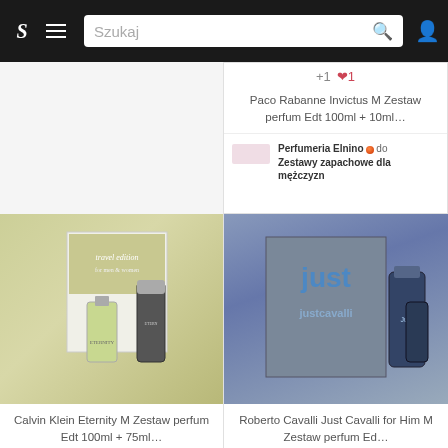S  ≡  Szukaj 🔍  👤
+1 ♥1
Paco Rabanne Invictus M Zestaw perfum Edt 100ml + 10ml…
Perfumeria Elnino● do Zestawy zapachowe dla mężczyzn
[Figure (photo): Calvin Klein Eternity M gift set with box, EDT bottle and deodorant stick]
Calvin Klein Eternity M Zestaw perfum Edt 100ml + 75ml…
Perfumeria Elnino● do Zestawy zapachowe dla mężczyzn
[Figure (photo): Roberto Cavalli Just Cavalli for Him M gift set with EDT bottle and shower gel]
Roberto Cavalli Just Cavalli for Him M Zestaw perfum Ed…
Perfumeria Elnino● do Zestawy zapachowe dla mężczyzn